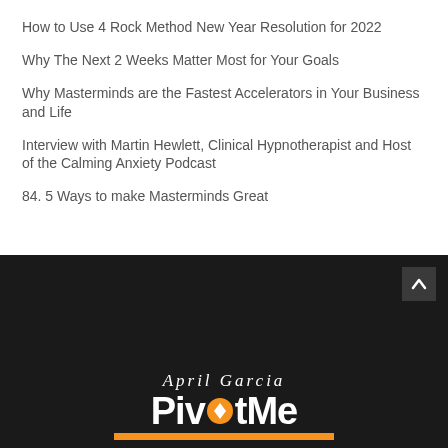How to Use 4 Rock Method New Year Resolution for 2022
Why The Next 2 Weeks Matter Most for Your Goals
Why Masterminds are the Fastest Accelerators in Your Business and Life
Interview with Martin Hewlett, Clinical Hypnotherapist and Host of the Calming Anxiety Podcast
84. 5 Ways to make Masterminds Great
[Figure (logo): April Garcia PivotMe logo on dark background with orange accent bar]